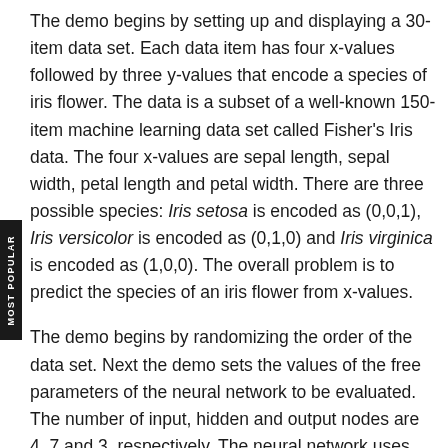The demo begins by setting up and displaying a 30-item data set. Each data item has four x-values followed by three y-values that encode a species of iris flower. The data is a subset of a well-known 150-item machine learning data set called Fisher's Iris data. The four x-values are sepal length, sepal width, petal length and petal width. There are three possible species: Iris setosa is encoded as (0,0,1), Iris versicolor is encoded as (0,1,0) and Iris virginica is encoded as (1,0,0). The overall problem is to predict the species of an iris flower from x-values.
The demo begins by randomizing the order of the data set. Next the demo sets the values of the free parameters of the neural network to be evaluated. The number of input, hidden and output nodes are 4, 7 and 3, respectively. The neural network uses back-propagation for training. Back-propagation requires a learning rate,